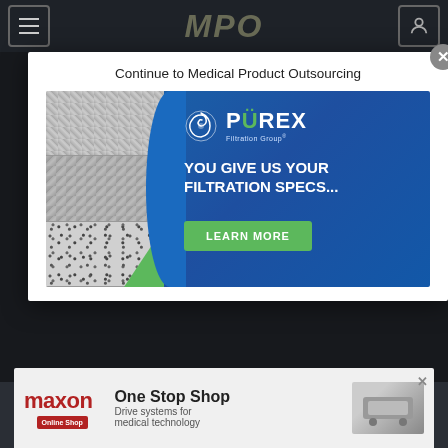MPO
Continue to Medical Product Outsourcing
[Figure (advertisement): Porex Filtration Group advertisement. Left side shows three microscopy images of filtration materials (porous foam, fiber mesh, granular material). Right side has blue background with Porex logo, tagline 'YOU GIVE US YOUR FILTRATION SPECS...' and a green 'LEARN MORE' button.]
Remove all
SEARCH BY...
[Figure (advertisement): Maxon One Stop Shop banner ad. Drive systems for medical technology. Shows maxon logo, Online Shop badge, and product image.]